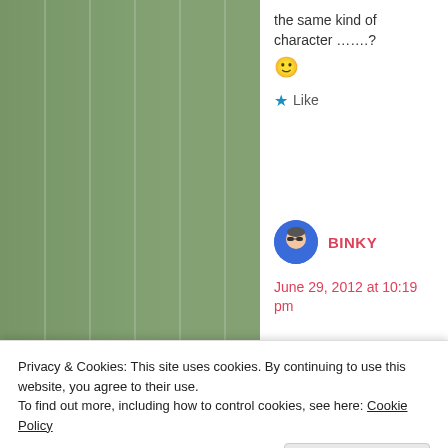the same kind of character ……?
🙂
★ Like
BINKY
June 29, 2012 at 10:19 pm
I wouldn't say
Privacy & Cookies: This site uses cookies. By continuing to use this website, you agree to their use.
To find out more, including how to control cookies, see here: Cookie Policy
Close and accept